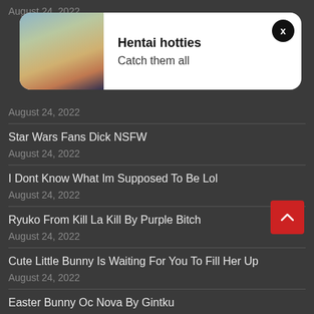August 24, 2022
[Figure (illustration): Ad popup with anime character image on left and text 'Hentai hotties / Catch them all' on right, with X close button]
August 24, 2022
Star Wars Fans Dick NSFW
August 24, 2022
I Dont Know What Im Supposed To Be Lol
August 24, 2022
Ryuko From Kill La Kill By Purple Bitch
August 24, 2022
Cute Little Bunny Is Waiting For You To Fill Her Up
August 24, 2022
Easter Bunny Oc Nova By Gintku